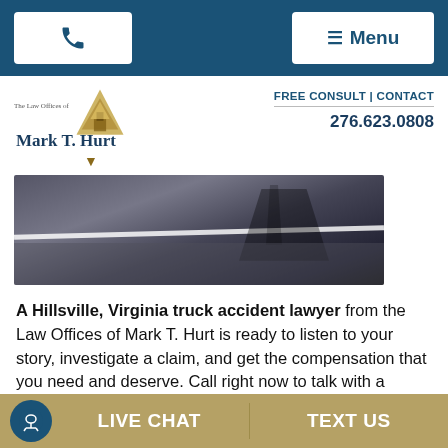Phone | Menu
[Figure (logo): Law Offices of Mark T. Hurt logo with gold triangle and firm name]
FREE CONSULT | CONTACT
276.623.0808
[Figure (photo): Road or accident scene photo showing tire marks or skid marks on pavement with a white road line and shadowed tree/vehicle silhouette]
A Hillsville, Virginia truck accident lawyer from the Law Offices of Mark T. Hurt is ready to listen to your story, investigate a claim, and get the compensation that you need and deserve. Call right now to talk with a trusted lawyer.
A truck accident can change the lives of everyone involved within a split second. You may require months
LIVE CHAT | TEXT US